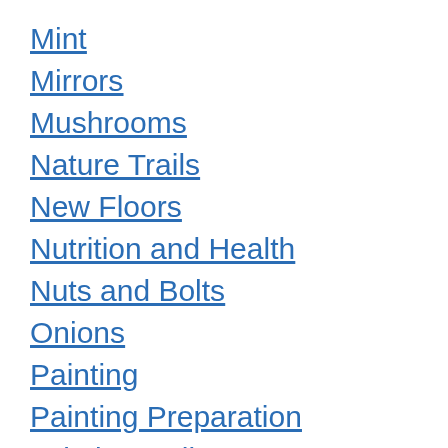Mint
Mirrors
Mushrooms
Nature Trails
New Floors
Nutrition and Health
Nuts and Bolts
Onions
Painting
Painting Preparation
painting walls
Painting Wood
Parsnips